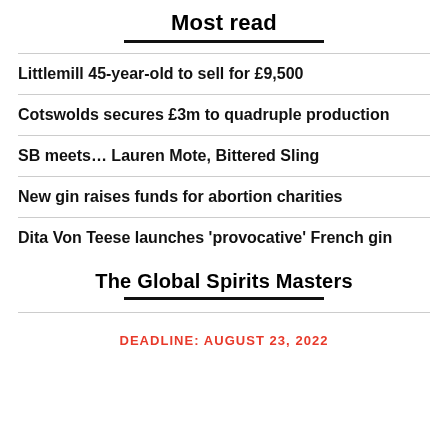Most read
Littlemill 45-year-old to sell for £9,500
Cotswolds secures £3m to quadruple production
SB meets… Lauren Mote, Bittered Sling
New gin raises funds for abortion charities
Dita Von Teese launches 'provocative' French gin
The Global Spirits Masters
DEADLINE: AUGUST 23, 2022